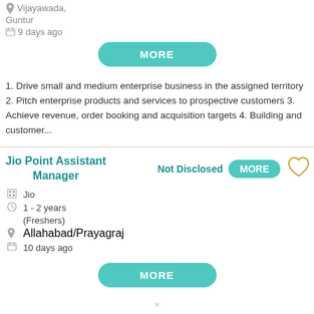Vijayawada, Guntur
9 days ago
MORE
1. Drive small and medium enterprise business in the assigned territory 2. Pitch enterprise products and services to prospective customers 3. Achieve revenue, order booking and acquisition targets 4. Building and customer...
Jio Point Assistant Manager
Not Disclosed MORE
Jio
1 - 2 years
(Freshers)
Allahabad/Prayagraj
10 days ago
MORE